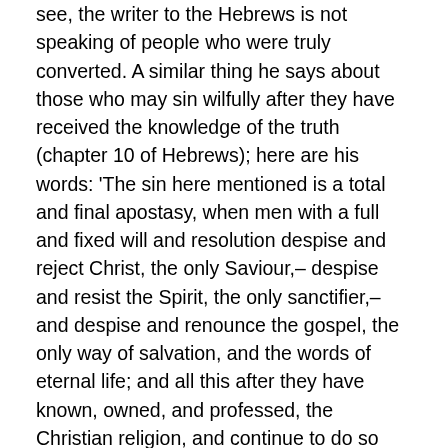see, the writer to the Hebrews is not speaking of people who were truly converted. A similar thing he says about those who may sin wilfully after they have received the knowledge of the truth (chapter 10 of Hebrews); here are his words: 'The sin here mentioned is a total and final apostasy, when men with a full and fixed will and resolution despise and reject Christ, the only Saviour,–despise and resist the Spirit, the only sanctifier,–and despise and renounce the gospel, the only way of salvation, and the words of eternal life; and all this after they have known, owned, and professed, the Christian religion, and continue to do so obstinately and maliciously. This is the great transgression: the apostle seems to refer to the law concerning presumptuous sinners, Num. xv. 30, 31. They were to be cut off. 2. From the dreadful doom of such apostates. (1.) There remains no more sacrifice for such sins, no other Christ to come to save such sinners;